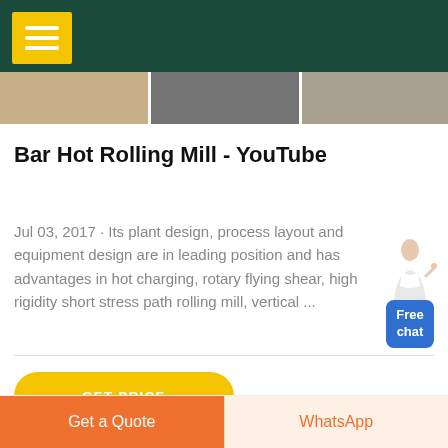[Figure (screenshot): Navigation bar with dark green background and yellow menu/hamburger button, and a row of three thumbnail images below]
Bar Hot Rolling Mill - YouTube
Jul 03, 2017 · Its plant design, process layout and equipment design are in leading position and has advantages in hot charging, rotary flying shear, high rigidity short stress path rolling mill, vertical ...
[Figure (illustration): Free chat widget with a person figure and blue chat button labelled Free chat]
GET PRICE
Get a Quote   WhatsApp